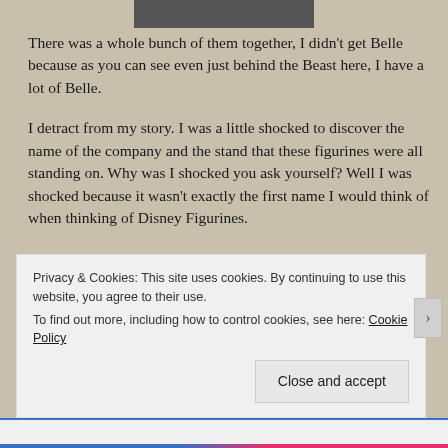[Figure (photo): Partial photo strip at top of page showing dark image]
There was a whole bunch of them together, I didn't get Belle because as you can see even just behind the Beast here, I have a lot of Belle.
I detract from my story. I was a little shocked to discover the name of the company and the stand that these figurines were all standing on. Why was I shocked you ask yourself? Well I was shocked because it wasn't exactly the first name I would think of when thinking of Disney Figurines.
The company's name you may ask? … Bullyland … by
Privacy & Cookies: This site uses cookies. By continuing to use this website, you agree to their use.
To find out more, including how to control cookies, see here: Cookie Policy
Close and accept